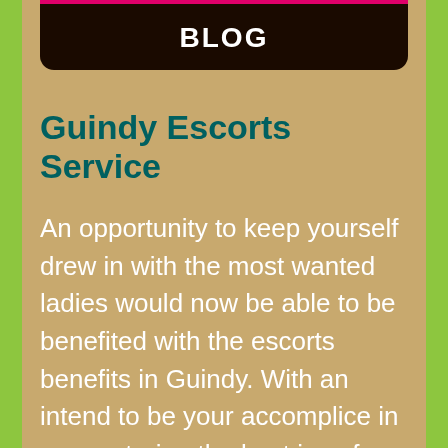BLOG
Guindy Escorts Service
An opportunity to keep yourself drew in with the most wanted ladies would now be able to be benefited with the escorts benefits in Guindy. With an intend to be your accomplice in encountering the best joy of exotic feels, the free escorts